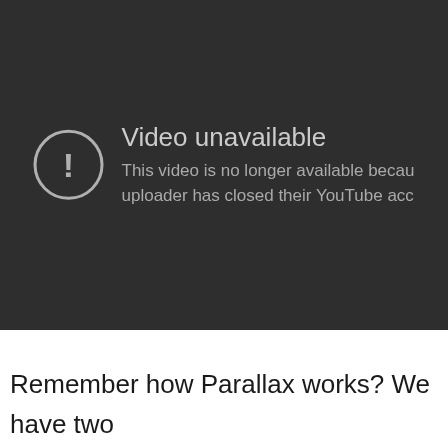[Figure (screenshot): YouTube video unavailable error screen on dark background. Shows a circle with exclamation mark icon and text: 'Video unavailable. This video is no longer available because the uploader has closed their YouTube account.']
Remember how Parallax works? We have two components, ParallaxScroll and